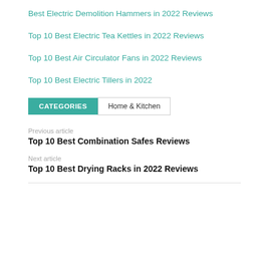Best Electric Demolition Hammers in 2022 Reviews
Top 10 Best Electric Tea Kettles in 2022 Reviews
Top 10 Best Air Circulator Fans in 2022 Reviews
Top 10 Best Electric Tillers in 2022
CATEGORIES   Home & Kitchen
Previous article
Top 10 Best Combination Safes Reviews
Next article
Top 10 Best Drying Racks in 2022 Reviews